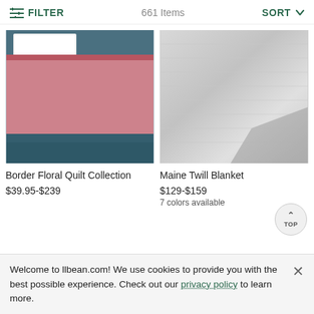FILTER  661 Items  SORT
[Figure (photo): Border Floral Quilt Collection product photo showing a floral patterned quilt with blue borders and pink floral center on a bed with white pillows]
[Figure (photo): Maine Twill Blanket product photo showing a folded light gray textured blanket]
Border Floral Quilt Collection
$39.95-$239
Maine Twill Blanket
$129-$159
7 colors available
Welcome to llbean.com! We use cookies to provide you with the best possible experience. Check out our privacy policy to learn more.